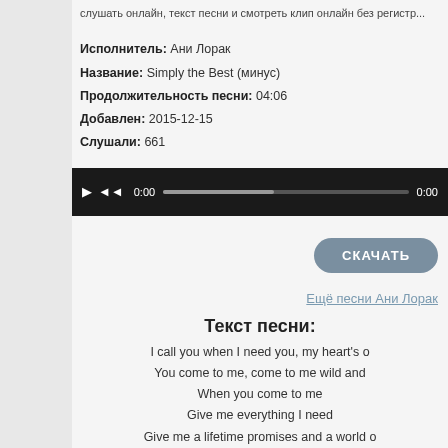слушать онлайн, текст песни и смотреть клип онлайн без регистр...
Исполнитель: Ани Лорак
Название: Simply the Best (минус)
Продолжительность песни: 04:06
Добавлен: 2015-12-15
Слушали: 661
[Figure (other): Audio player with play and rewind buttons, time 0:00, progress bar, and end time 0:00]
СКАЧАТЬ
Ещё песни Ани Лорак
Текст песни:
I call you when I need you, my heart's o
You come to me, come to me wild and...
When you come to me
Give me everything I need
Give me a lifetime promises and a world o...
Speak a language of love like you know wha...